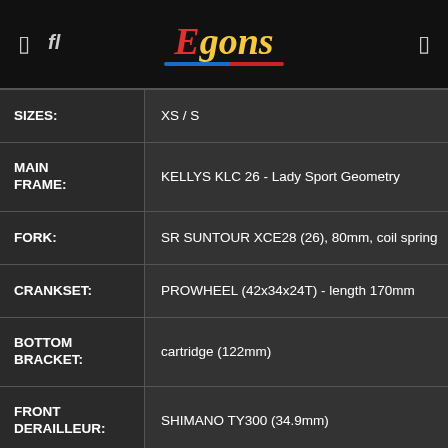Egons
| Specification | Value |
| --- | --- |
| SIZES: | XS / S |
| MAIN FRAME: | KELLYS KLC 26 - Lady Sport Geometry |
| FORK: | SR SUNTOUR XCE28 (26), 80mm, coil spring |
| CRANKSET: | PROWHEEL (42x34x24T) - length 170mm |
| BOTTOM BRACKET: | cartridge (122mm) |
| FRONT DERAILLEUR: | SHIMANO TY300 (34.9mm) |
| REAR DERAILLEUR: | SHIMANO TY200 (direct mount) |
| SHIFTERS: | SHIMANO ST-EF41-7 EZ-fire Plus |
| SPEED: | 21 |
| CASSETTE: | SHIMANO CS-HG200-7 (12-32T) |
| CHAIN: | KMC Z7 (110 links) |
| HUBS: | alloy / SHIMANO TY500-7 (32 holes) |